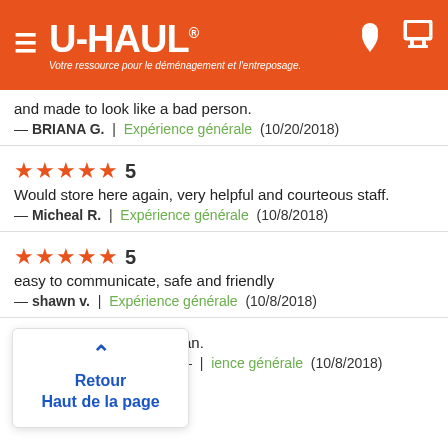[Figure (logo): U-Haul orange header with hamburger menu, U-HAUL logo with registered trademark, tagline in French 'Votre ressource pour le déménagement et l'entreposage.', and location pin and cart icons on the right]
and made to look like a bad person.
— BRIANA G. | Expérience générale (10/20/2018)
★★★★★ 5
Would store here again, very helpful and courteous staff.
— Micheal R. | Expérience générale (10/8/2018)
★★★★★ 5
easy to communicate, safe and friendly
— shawn v. | Expérience générale (10/8/2018)
↑ Retour Haut de la page
ran.
ience générale (10/8/2018)